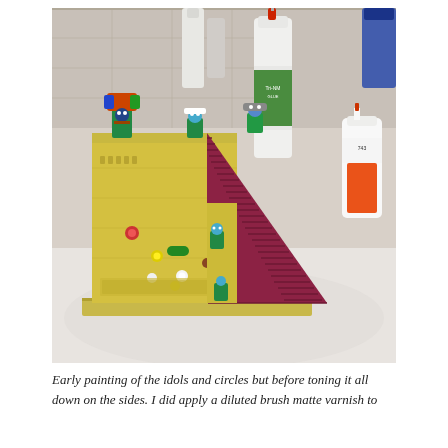[Figure (photo): A painted miniature temple/pyramid terrain piece with yellow walls, a dark red/maroon stepped staircase ramp, and small painted idol figurines on top. Several paint bottles and glue bottles are visible in the background on a white surface.]
Early painting of the idols and circles but before toning it all down on the sides. I did apply a diluted brush matte varnish to